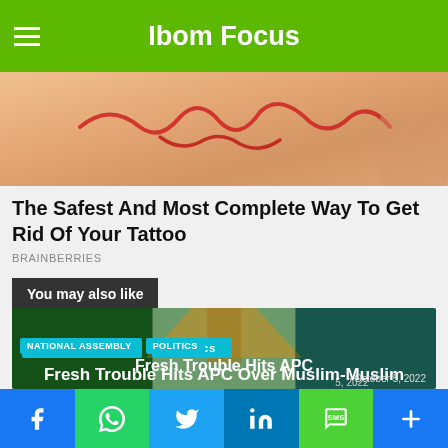Ibom Focus
[Figure (photo): Close-up photo of a skin tattoo showing red/scar-like markings on skin]
The Safest And Most Complete Way To Get Rid Of Your Tattoo
BRAINBERRIES
You may also like
[Figure (photo): Nigerian flag with broom (APC symbol) overlay, article card image]
NATIONAL ASSEMBLY   POLITICS
Fresh Trouble Hits APC Over Muslim-Muslim Ticket –
October 5, 2022